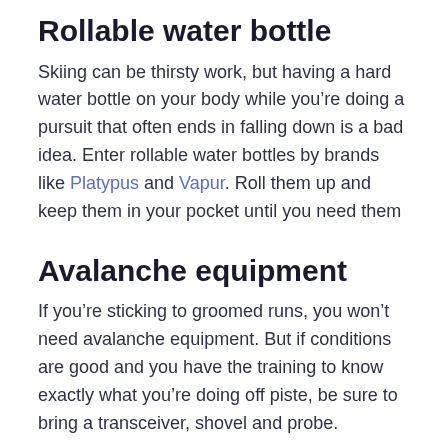Rollable water bottle
Skiing can be thirsty work, but having a hard water bottle on your body while you’re doing a pursuit that often ends in falling down is a bad idea. Enter rollable water bottles by brands like Platypus and Vapur. Roll them up and keep them in your pocket until you need them
Avalanche equipment
If you’re sticking to groomed runs, you won’t need avalanche equipment. But if conditions are good and you have the training to know exactly what you’re doing off piste, be sure to bring a transceiver, shovel and probe.